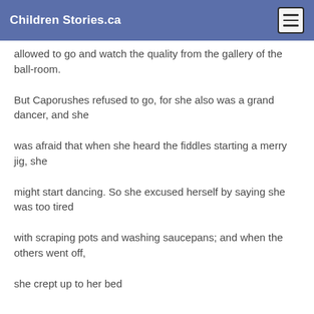Children Stories.ca
allowed to go and watch the quality from the gallery of the ball-room.
But Caporushes refused to go, for she also was a grand dancer, and she
was afraid that when she heard the fiddles starting a merry jig, she
might start dancing. So she excused herself by saying she was too tired
with scraping pots and washing saucepans; and when the others went off,
she crept up to her bed